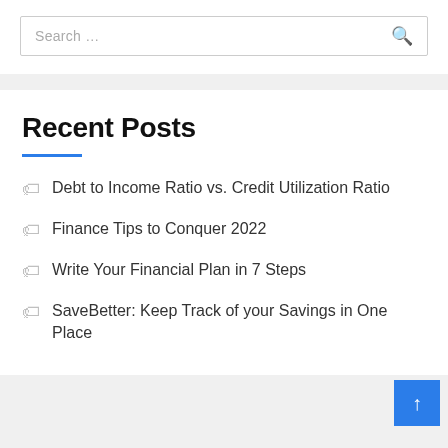Search …
Recent Posts
Debt to Income Ratio vs. Credit Utilization Ratio
Finance Tips to Conquer 2022
Write Your Financial Plan in 7 Steps
SaveBetter: Keep Track of your Savings in One Place